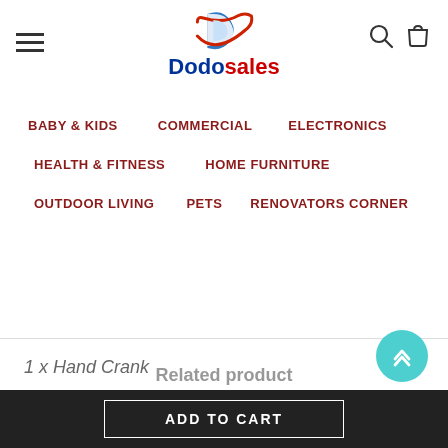[Figure (logo): Dodosales logo with D icon and swoosh, blue and red text]
BABY & KIDS
COMMERCIAL
ELECTRONICS
HEALTH & FITNESS
HOME FURNITURE
OUTDOOR LIVING
PETS
RENOVATORS CORNER
1 x Hand Crank
Related product
ADD TO CART